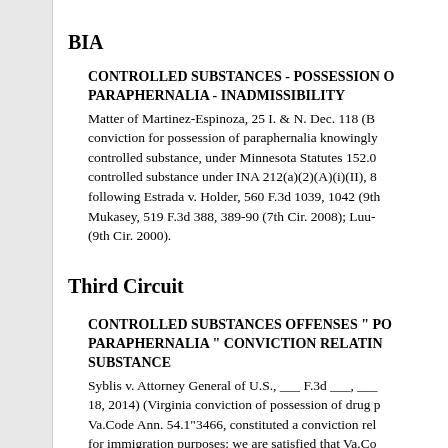BIA
CONTROLLED SUBSTANCES - POSSESSION OF PARAPHERNALIA - INADMISSIBILITY
Matter of Martinez-Espinoza, 25 I. & N. Dec. 118 (BIA ...) conviction for possession of paraphernalia knowingly controlled substance, under Minnesota Statutes 152.0... controlled substance under INA 212(a)(2)(A)(i)(II), 8... following Estrada v. Holder, 560 F.3d 1039, 1042 (9th... Mukasey, 519 F.3d 388, 389-90 (7th Cir. 2008); Luu-... (9th Cir. 2000).
Third Circuit
CONTROLLED SUBSTANCES OFFENSES " POSSESSION OF PARAPHERNALIA " CONVICTION RELATING TO A CONTROLLED SUBSTANCE
Syblis v. Attorney General of U.S., ___ F.3d ___, ___ (... 18, 2014) (Virginia conviction of possession of drug p... Va.Code Ann. 54.1"3466, constituted a conviction rel... for immigration purposes: we are satisfied that Va.Co... connected to controlled substances so as to be related...